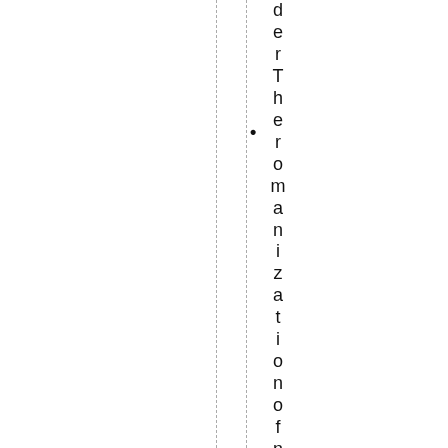derThermanization of nameshes hasbe